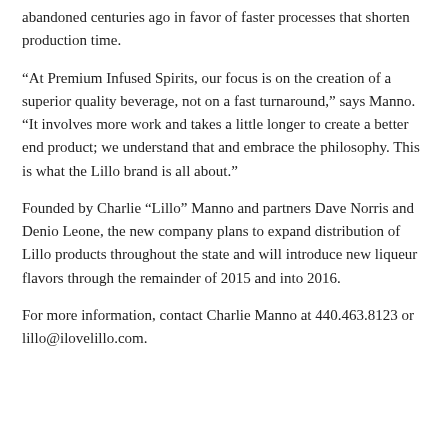abandoned centuries ago in favor of faster processes that shorten production time.
“At Premium Infused Spirits, our focus is on the creation of a superior quality beverage, not on a fast turnaround,” says Manno. “It involves more work and takes a little longer to create a better end product; we understand that and embrace the philosophy. This is what the Lillo brand is all about.”
Founded by Charlie “Lillo” Manno and partners Dave Norris and Denio Leone, the new company plans to expand distribution of Lillo products throughout the state and will introduce new liqueur flavors through the remainder of 2015 and into 2016.
For more information, contact Charlie Manno at 440.463.8123 or lillo@ilovelillo.com.